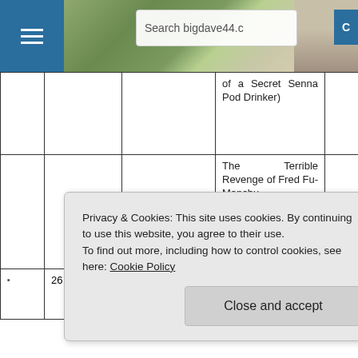[Figure (screenshot): Website header with hamburger menu button, countryside photo banner, and search bar showing 'Search bigdave44.c']
|  |  |  | of a Secret Senna Pod Drinker) |  |  |
|  |  |  | The Terrible Revenge of Fred Fu-Manchu |  |  |
| ▪ | 26 | Statement No. 349 |  |  |  |
Privacy & Cookies: This site uses cookies. By continuing to use this website, you agree to their use. To find out more, including how to control cookies, see here: Cookie Policy
Close and accept